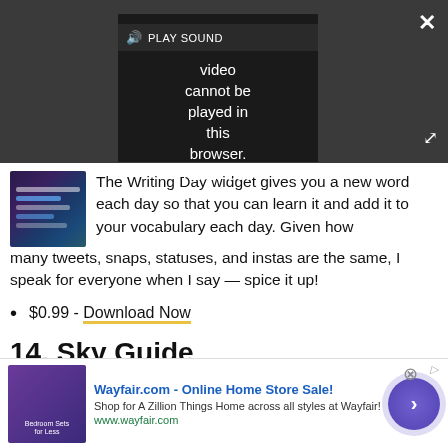[Figure (screenshot): Video player overlay on dark gray background showing 'PLAY SOUND' bar and error message: 'Video cannot be played in this browser. (Error Cod'. Close button (X) top right, expand button bottom right.]
[Figure (screenshot): Small app thumbnail image showing dark purple/blue gradient with code-like lines]
The Writing Day widget gives you a new word each day so that you can learn it and add it to your vocabulary each day. Given how many tweets, snaps, statuses, and instas are the same, I speak for everyone when I say — spice it up!
$0.99 - Download Now
14. Sky Guide
[Figure (screenshot): Wayfair.com advertisement banner: 'Wayfair.com - Online Home Store Sale! Shop for A Zillion Things Home across all styles at Wayfair! www.wayfair.com' with bedroom furniture thumbnail and blue arrow circle button.]